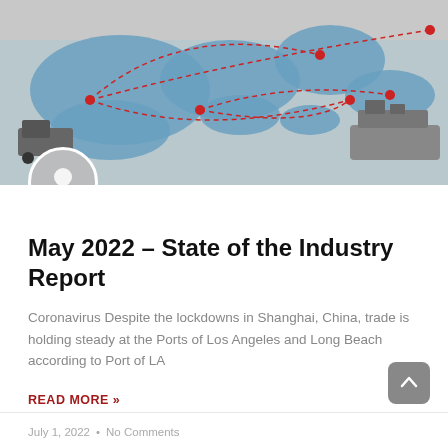[Figure (illustration): World map infographic showing global trade routes with red dashed lines connecting major port cities, with a truck on the left and a container ship on the right against a grey background.]
May 2022 – State of the Industry Report
Coronavirus Despite the lockdowns in Shanghai, China, trade is holding steady at the Ports of Los Angeles and Long Beach according to Port of LA
READ MORE »
July 1, 2022  •  No Comments